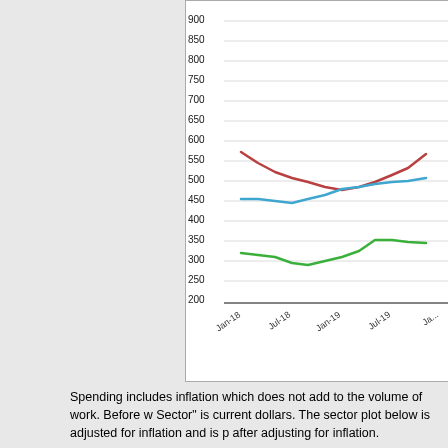[Figure (line-chart): Line chart showing three series (red ~570-580, blue ~450-500, green ~300-360) over time from Jan-18 to Jan-20+]
Spending includes inflation which does not add to the volume of work. Before w... Sector" is current dollars. The sector plot below is adjusted for inflation and is p... after adjusting for inflation.
Constant $ =
Construct...